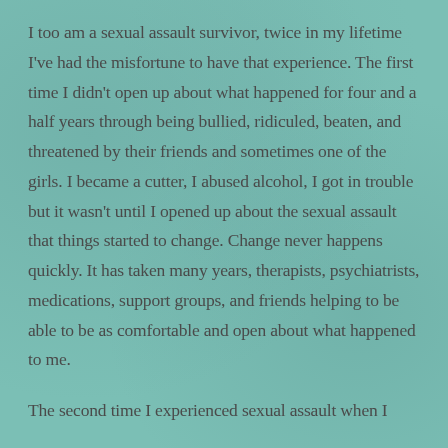I too am a sexual assault survivor, twice in my lifetime I've had the misfortune to have that experience. The first time I didn't open up about what happened for four and a half years through being bullied, ridiculed, beaten, and threatened by their friends and sometimes one of the girls. I became a cutter, I abused alcohol, I got in trouble but it wasn't until I opened up about the sexual assault that things started to change. Change never happens quickly. It has taken many years, therapists, psychiatrists, medications, support groups, and friends helping to be able to be as comfortable and open about what happened to me.

The second time I experienced sexual assault when I